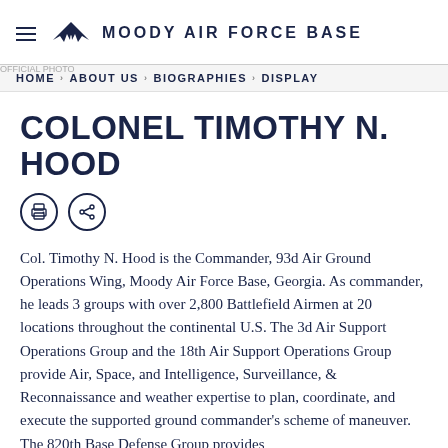MOODY AIR FORCE BASE
HOME › ABOUT US › BIOGRAPHIES › DISPLAY
COLONEL TIMOTHY N. HOOD
Col. Timothy N. Hood is the Commander, 93d Air Ground Operations Wing, Moody Air Force Base, Georgia. As commander, he leads 3 groups with over 2,800 Battlefield Airmen at 20 locations throughout the continental U.S. The 3d Air Support Operations Group and the 18th Air Support Operations Group provide Air, Space, and Intelligence, Surveillance, & Reconnaissance and weather expertise to plan, coordinate, and execute the supported ground commander's scheme of maneuver. The 820th Base Defense Group provides